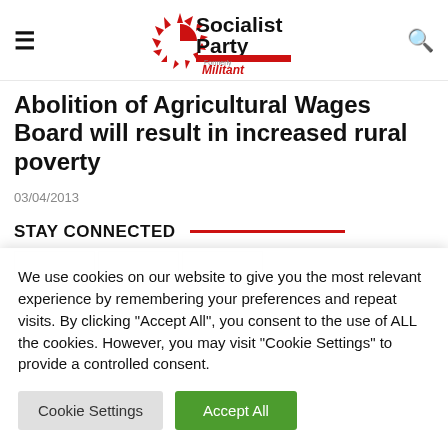Socialist Party (formerly Militant)
Abolition of Agricultural Wages Board will result in increased rural poverty
03/04/2013
STAY CONNECTED
We use cookies on our website to give you the most relevant experience by remembering your preferences and repeat visits. By clicking "Accept All", you consent to the use of ALL the cookies. However, you may visit "Cookie Settings" to provide a controlled consent.